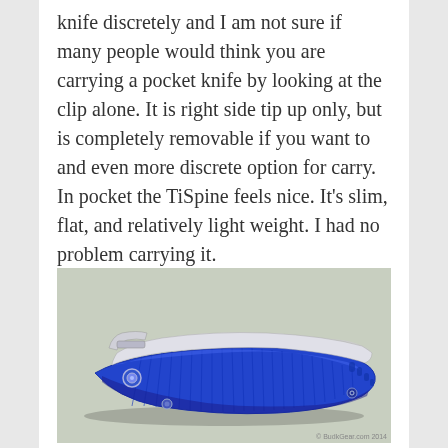knife discretely and I am not sure if many people would think you are carrying a pocket knife by looking at the clip alone. It is right side tip up only, but is completely removable if you want to and even more discrete option for carry. In pocket the TiSpine feels nice. It's slim, flat, and relatively light weight. I had no problem carrying it.
[Figure (photo): Photo of a blue anodized titanium folding pocket knife (TiSpine) closed, showing the pocket clip and milled handle grooves, photographed against a light gray/green background.]